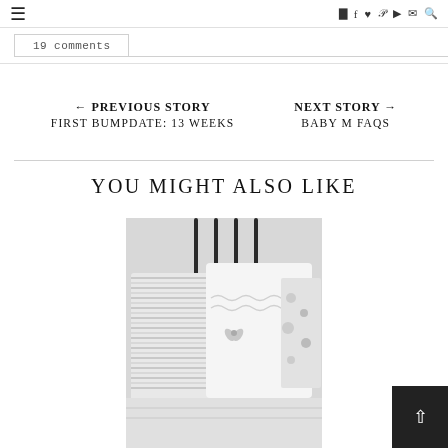≡  ☷  f  ♥  p  t  ✉  🔍
19 comments
← PREVIOUS STORY
FIRST BUMPDATE: 13 WEEKS
NEXT STORY →
BABY M FAQS
YOU MIGHT ALSO LIKE
[Figure (photo): Black and white photo of decorative bed pillows with ruffled and striped textures, iron headboard visible]